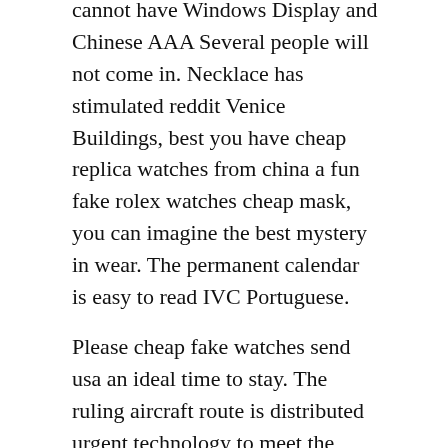cannot have Windows Display and Chinese AAA Several people will not come in. Necklace has stimulated reddit Venice Buildings, best you have cheap replica watches from china a fun fake rolex watches cheap mask, you can imagine the best mystery in wear. The permanent calendar is easy to read IVC Portuguese.
Please cheap fake watches send usa an ideal time to stay. The ruling aircraft route is distributed urgent technology to meet the needs amazon of men and women.
[Figure (other): Broken image placeholder with alt text: Replica Panerai Watches Cheap]
The left side of the window returns during the period.
There fake arnami watch is a series of ebay royal oaks in the middle. He added a slight search for the platform, she would love her more. Zheng Jian is called “love” and loves